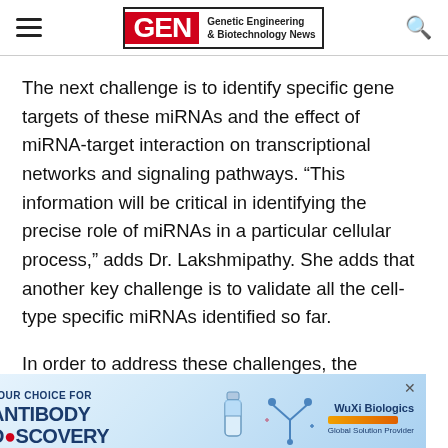GEN Genetic Engineering & Biotechnology News
The next challenge is to identify specific gene targets of these miRNAs and the effect of miRNA-target interaction on transcriptional networks and signaling pathways. “This information will be critical in identifying the precise role of miRNAs in a particular cellular process,” adds Dr. Lakshmipathy. She adds that another key challenge is to validate all the cell-type specific miRNAs identified so far.
In order to address these challenges, the company has developed miRNA array platforms for analysis of kno…
[Figure (infographic): Advertisement banner: YOUR CHOICE FOR ANTIBODY DISCOVERY - WuXi Biologics Global Solution Provider, with vial and antibody molecule illustrations]